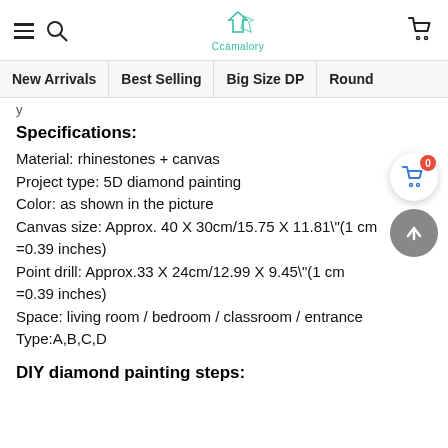Ccamalory [logo/brand header with hamburger, search, cart icons]
New Arrivals | Best Selling | Big Size DP | Round
y
Specifications:
Material: rhinestones + canvas
Project type: 5D diamond painting
Color: as shown in the picture
Canvas size: Approx. 40 X 30cm/15.75 X 11.81"(1 cm =0.39 inches)
Point drill: Approx.33 X 24cm/12.99 X 9.45"(1 cm =0.39 inches)
Space: living room / bedroom / classroom / entrance
Type:A,B,C,D
DIY diamond painting steps: